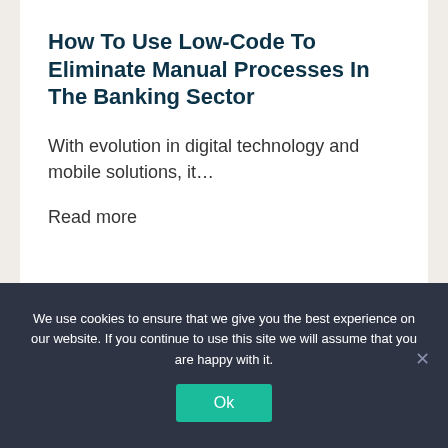How To Use Low-Code To Eliminate Manual Processes In The Banking Sector
With evolution in digital technology and mobile solutions, it…
Read more
We use cookies to ensure that we give you the best experience on our website. If you continue to use this site we will assume that you are happy with it.